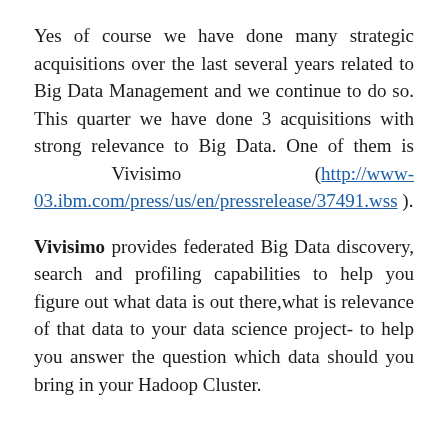Yes of course we have done many strategic acquisitions over the last several years related to Big Data Management and we continue to do so. This quarter we have done 3 acquisitions with strong relevance to Big Data. One of them is Vivisimo (http://www-03.ibm.com/press/us/en/pressrelease/37491.wss ).
Vivisimo provides federated Big Data discovery, search and profiling capabilities to help you figure out what data is out there,what is relevance of that data to your data science project- to help you answer the question which data should you bring in your Hadoop Cluster.